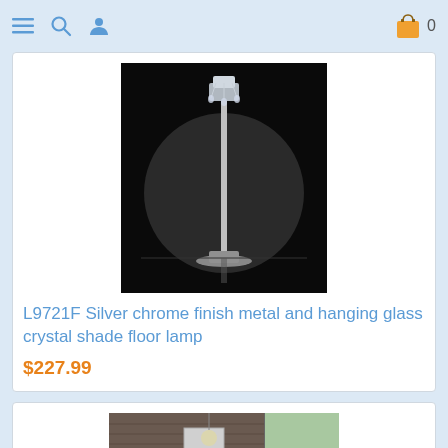Navigation bar with menu, search, user icons and shopping cart (0 items)
[Figure (photo): Black and white photo of a tall silver chrome floor lamp with hanging glass crystal shade against dark background]
L9721F Silver chrome finish metal and hanging glass crystal shade floor lamp
$227.99
[Figure (photo): Photo of a gray sectional sofa with decorative pillows in a room with brick wall and large windows]